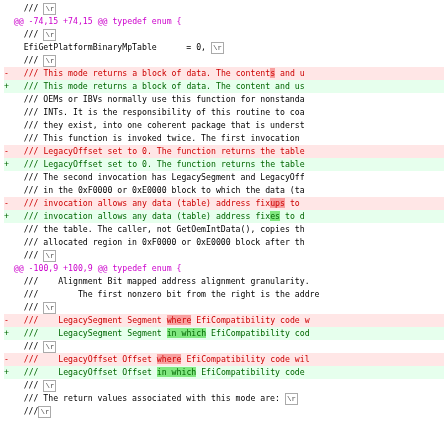[Figure (screenshot): A code diff screenshot showing changes in a C/C++ typedef enum block with unified diff format. Lines show additions (+) in green and deletions (-) in red, with context lines in black. Hunk headers are in purple. Highlights mark changed words within lines.]